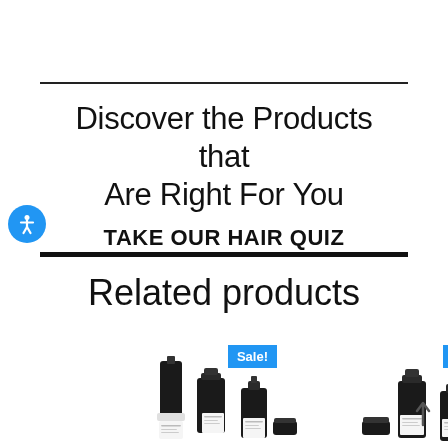Discover the Products that Are Right For You
TAKE OUR HAIR QUIZ
Related products
[Figure (photo): Two sets of hair care product bottles with 'Sale!' badges in blue]
[Figure (infographic): Accessibility icon (person figure) in blue circle on left side]